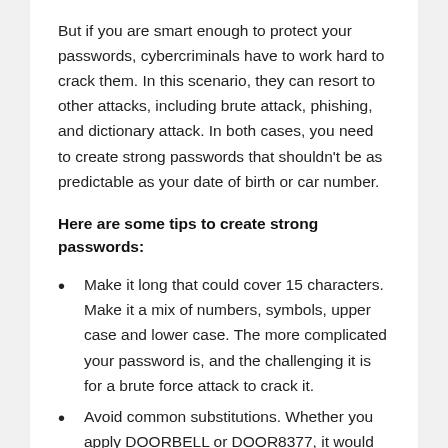But if you are smart enough to protect your passwords, cybercriminals have to work hard to crack them. In this scenario, they can resort to other attacks, including brute attack, phishing, and dictionary attack. In both cases, you need to create strong passwords that shouldn't be as predictable as your date of birth or car number.
Here are some tips to create strong passwords:
Make it long that could cover 15 characters. Make it a mix of numbers, symbols, upper case and lower case. The more complicated your password is, and the challenging it is for a brute force attack to crack it.
Avoid common substitutions. Whether you apply DOORBELL or DOOR8377, it would be a